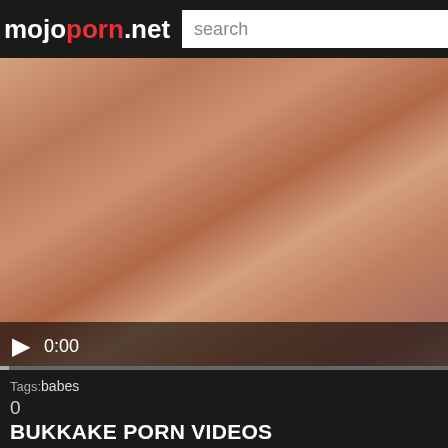mojoporn.net
[Figure (screenshot): Video player showing blurred close-up image with play button and 0:00 timestamp]
Tags:babes
0
BUKKAKE PORN VIDEOS
[Figure (photo): Row of video thumbnails at the bottom]